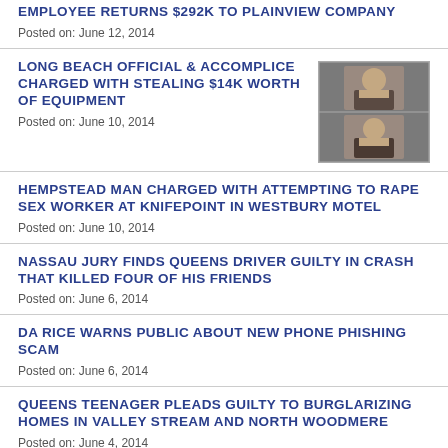EMPLOYEE RETURNS $292K TO PLAINVIEW COMPANY
Posted on: June 12, 2014
LONG BEACH OFFICIAL & ACCOMPLICE CHARGED WITH STEALING $14K WORTH OF EQUIPMENT
[Figure (photo): Mugshot photos of two individuals]
Posted on: June 10, 2014
HEMPSTEAD MAN CHARGED WITH ATTEMPTING TO RAPE SEX WORKER AT KNIFEPOINT IN WESTBURY MOTEL
Posted on: June 10, 2014
NASSAU JURY FINDS QUEENS DRIVER GUILTY IN CRASH THAT KILLED FOUR OF HIS FRIENDS
Posted on: June 6, 2014
DA RICE WARNS PUBLIC ABOUT NEW PHONE PHISHING SCAM
Posted on: June 6, 2014
QUEENS TEENAGER PLEADS GUILTY TO BURGLARIZING HOMES IN VALLEY STREAM AND NORTH WOODMERE
Posted on: June 4, 2014